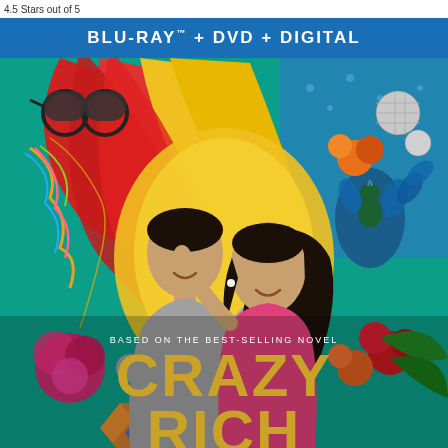4.5 Stars out of 5
BLU-RAY™ + DVD + DIGITAL
[Figure (photo): Crazy Rich Asians Blu-ray + DVD + Digital movie cover featuring a man and woman gazing at each other surrounded by colorful tropical flowers, a peacock, fan decorations, jewelry, sunglasses, and a disco ball on a teal/green background]
BASED ON THE BEST-SELLING NOVEL
CRAZY RICH